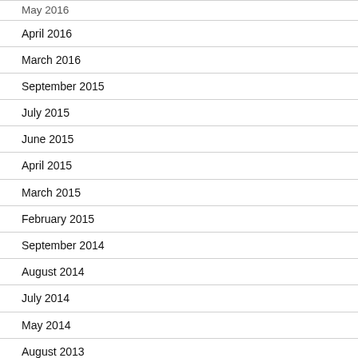May 2016
April 2016
March 2016
September 2015
July 2015
June 2015
April 2015
March 2015
February 2015
September 2014
August 2014
July 2014
May 2014
August 2013